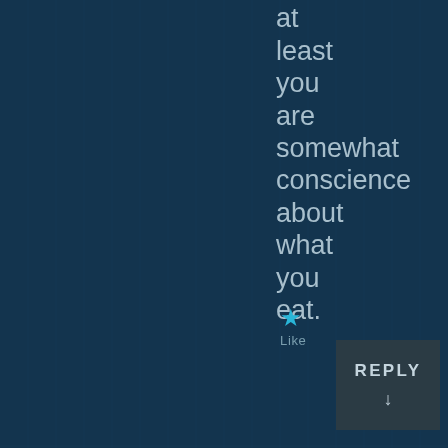also at least you are somewhat conscience about what you eat.
[Figure (other): Star/like icon (cyan star) with 'Like' label below it, and a dark REPLY button with down arrow]